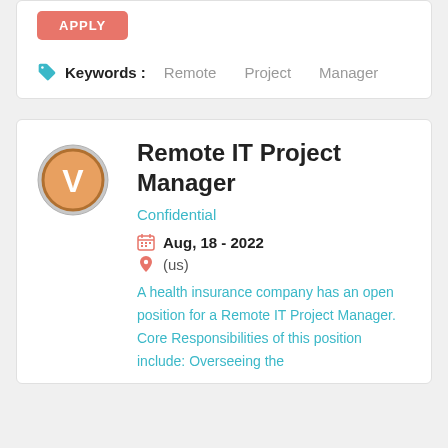APPLY
Keywords :   Remote   Project   Manager
Remote IT Project Manager
Confidential
Aug, 18 - 2022
(us)
A health insurance company has an open position for a Remote IT Project Manager. Core Responsibilities of this position include: Overseeing the